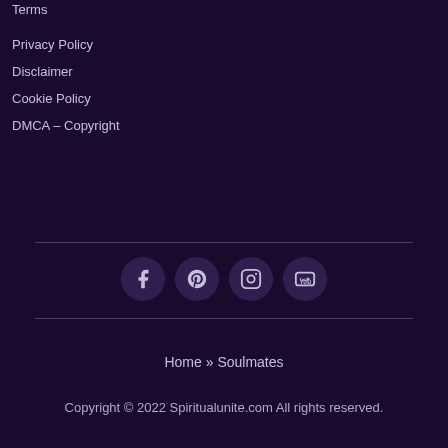Terms
Privacy Policy
Disclaimer
Cookie Policy
DMCA – Copyright
[Figure (other): Social media icons row: Facebook, Pinterest, Instagram, YouTube]
Home » Soulmates
Copyright © 2022 Spiritualunite.com All rights reserved.